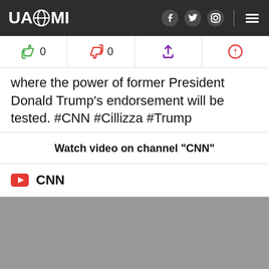UAZMI
where the power of former President Donald Trump's endorsement will be tested. #CNN #Cillizza #Trump
Watch video on channel "CNN"
CNN